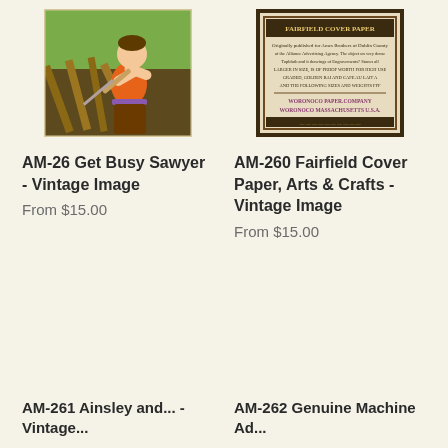[Figure (illustration): Vintage illustration of a boy sawing wood - AM-26 Get Busy Sawyer]
[Figure (illustration): Vintage Arts & Crafts advertisement for Fairfield Cover Paper by Wor(o)noco Paper Company, Massachusetts]
AM-26 Get Busy Sawyer - Vintage Image
From $15.00
AM-260 Fairfield Cover Paper, Arts & Crafts - Vintage Image
From $15.00
AM-261 ... - Vintage ...
AM-262 ... Machine Ad...